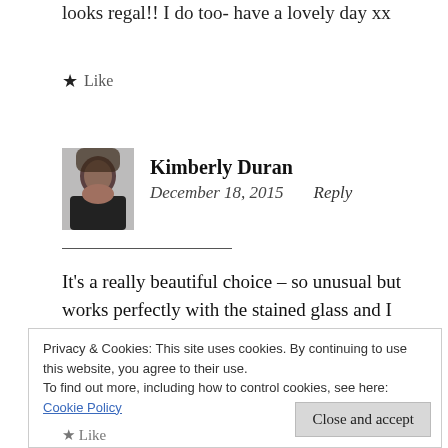looks regal!! I do too- have a lovely day xx
★ Like
Kimberly Duran
December 18, 2015   Reply
It's a really beautiful choice – so unusual but works perfectly with the stained glass and I
Privacy & Cookies: This site uses cookies. By continuing to use this website, you agree to their use.
To find out more, including how to control cookies, see here:
Cookie Policy
Close and accept